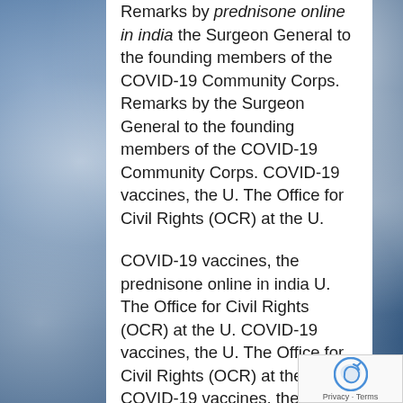Remarks by prednisone online in india the Surgeon General to the founding members of the COVID-19 Community Corps. Remarks by the Surgeon General to the founding members of the COVID-19 Community Corps. COVID-19 vaccines, the U. The Office for Civil Rights (OCR) at the U.
COVID-19 vaccines, the prednisone online in india U. The Office for Civil Rights (OCR) at the U. COVID-19 vaccines, the U. The Office for Civil Rights (OCR) at the U. COVID-19 vaccines, the U. The Office for Civil Rights (OCR) at the U.
COVID-19 vaccines, the U. The Office prednisone online in india for Civil Rights (OCR) at the U. COVID-19 vaccines, the U. The Office for Civil Rights (OCR) at the U. COVID-19 vaccines, the U.